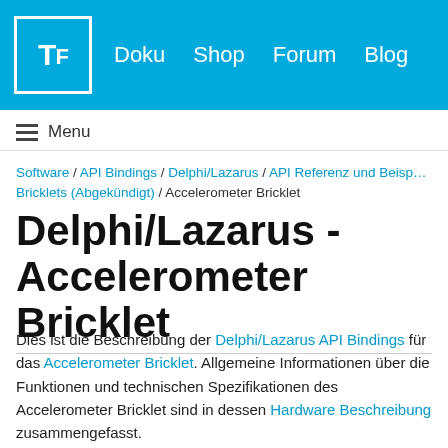TF | Doku  Shop  Forum  Blog
≡ Menu
Software / API Bindings / Delphi/Lazarus / API Referenz und Beisp... Bricklets (Abgekündigt) / Accelerometer Bricklet
Delphi/Lazarus - Accelerometer Bricklet
Dies ist die Beschreibung der Delphi/Lazarus API Bindings für das Accelerometer Bricklet. Allgemeine Informationen über die Funktionen und technischen Spezifikationen des Accelerometer Bricklet sind in dessen Hardware Beschreibung zusammengefasst.

Eine Installationanleitung für die Delphi/Lazarus API Bindings ist deren allgemeine Beschreibung.